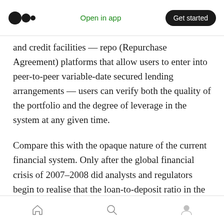Open in app | Get started
and credit facilities — repo (Repurchase Agreement) platforms that allow users to enter into peer-to-peer variable-date secured lending arrangements — users can verify both the quality of the portfolio and the degree of leverage in the system at any given time.
Compare this with the opaque nature of the current financial system. Only after the global financial crisis of 2007–2008 did analysts and regulators begin to realise that the loan-to-deposit ratio in the US had reached 3.5… twice as
Home | Search | Profile